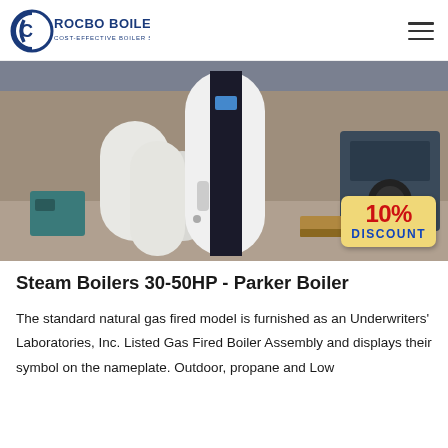ROCBO BOILER — COST-EFFECTIVE BOILER SUPPLIER
[Figure (photo): Industrial boiler unit (white and black cylindrical steam boiler) in a factory/warehouse setting, with other equipment visible. A '10% DISCOUNT' badge is overlaid in the bottom right corner.]
Steam Boilers 30-50HP - Parker Boiler
The standard natural gas fired model is furnished as an Underwriters' Laboratories, Inc. Listed Gas Fired Boiler Assembly and displays their symbol on the nameplate. Outdoor, propane and Low